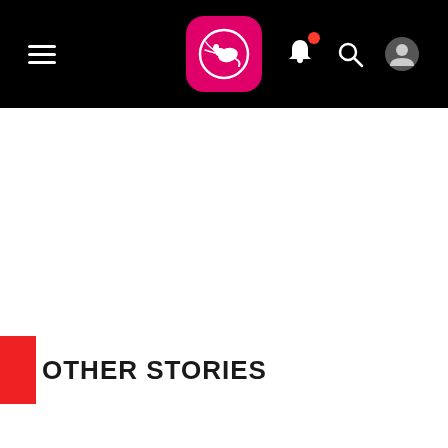Qantas app navigation bar with hamburger menu, Qantas logo, bell notification, search, and profile icons
OTHER STORIES